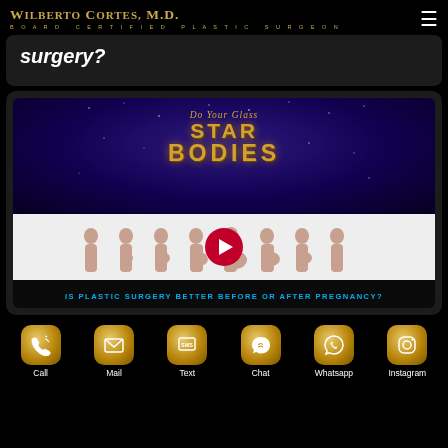WILBERTO CORTES, M.D. BOARD CERTIFIED PLASTIC SURGEON
surgery?
[Figure (screenshot): Video thumbnail for 'Do Your Hourglass Star Bodies' showing pregnant women progression silhouettes with play button, and caption: IS PLASTIC SURGERY BETTER BEFORE OR AFTER PREGNANCY?]
Call
Mail
Text
Chat
Whatsapp
Instagram